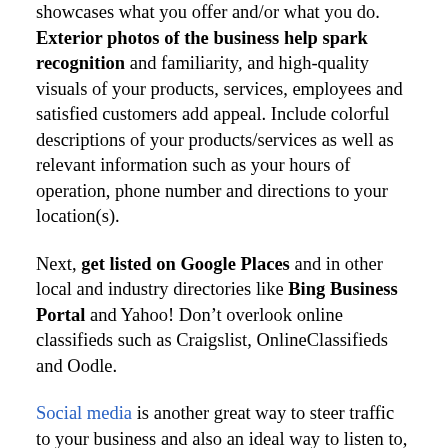showcases what you offer and/or what you do. Exterior photos of the business help spark recognition and familiarity, and high-quality visuals of your products, services, employees and satisfied customers add appeal. Include colorful descriptions of your products/services as well as relevant information such as your hours of operation, phone number and directions to your location(s).
Next, get listed on Google Places and in other local and industry directories like Bing Business Portal and Yahoo! Don’t overlook online classifieds such as Craigslist, OnlineClassifieds and Oodle.
Social media is another great way to steer traffic to your business and also an ideal way to listen to, and engage with, your customers. Platforms such as Foursquare and ...